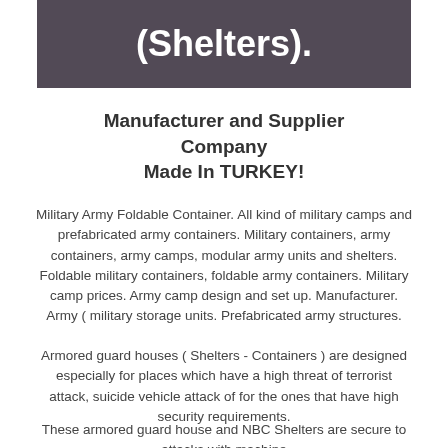(Shelters).
Manufacturer and Supplier Company
Made In TURKEY!
Military Army Foldable Container. All kind of military camps and prefabricated army containers. Military containers, army containers, army camps, modular army units and shelters. Foldable military containers, foldable army containers. Military camp prices. Army camp design and set up. Manufacturer. Army ( military storage units. Prefabricated army structures.
Armored guard houses ( Shelters - Containers ) are designed especially for places which have a high threat of terrorist attack, suicide vehicle attack of for the ones that have high security requirements.
These armored guard house and NBC Shelters are secure to attacks with machine